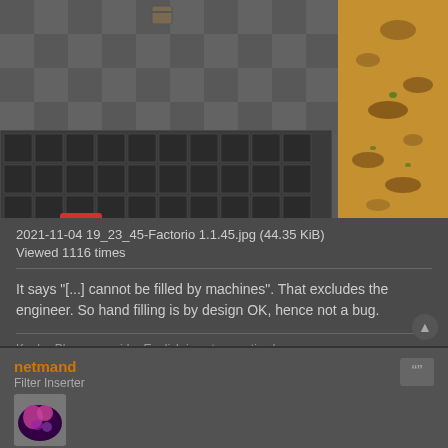[Figure (screenshot): Factorio game screenshot showing a chest inventory UI with a red X button and a tooltip reading 'Limit part of the inventory so it cannot be filled by machines.' The right side shows a sandy/desert terrain.]
2021-11-04 19_23_45-Factorio 1.1.45.jpg (44.35 KiB)
Viewed 1116 times
It says "[...] cannot be filled by machines". That excludes the engineer. So hand filling is by design OK, hence not a bug.
Koub - Please consider English is not my native language.
netmand
Filter Inserter
Re: Restricted Storage Interaction